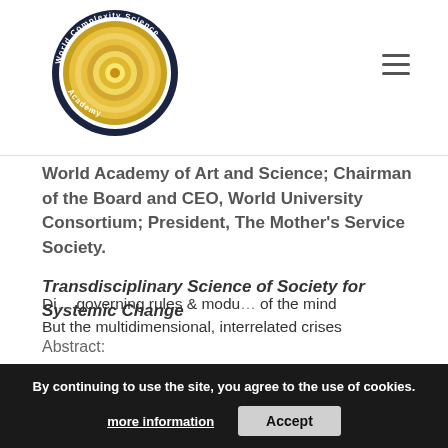[Figure (logo): World Complexity Science Academy circular logo with concentric spiral in gold/yellow tones and dark navy border with text around the ring]
World Academy of Art and Science; Chairman of the Board and CEO, World University Consortium; President, The Mother's Service Society.
Transdisciplinary Science of Society for Systemic Change
Abstract:
Di... governing rules & modu... of the mind But the multidimensional, interrelated crises
By continuing to use the site, you agree to the use of cookies. more information  Accept